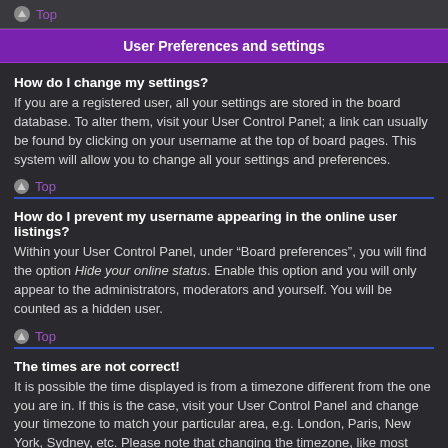Top
User Preferences and settings
How do I change my settings?
If you are a registered user, all your settings are stored in the board database. To alter them, visit your User Control Panel; a link can usually be found by clicking on your username at the top of board pages. This system will allow you to change all your settings and preferences.
Top
How do I prevent my username appearing in the online user listings?
Within your User Control Panel, under “Board preferences”, you will find the option Hide your online status. Enable this option and you will only appear to the administrators, moderators and yourself. You will be counted as a hidden user.
Top
The times are not correct!
It is possible the time displayed is from a timezone different from the one you are in. If this is the case, visit your User Control Panel and change your timezone to match your particular area, e.g. London, Paris, New York, Sydney, etc. Please note that changing the timezone, like most settings, can only be done by registered users. If you are not registered, this is a good time to do so